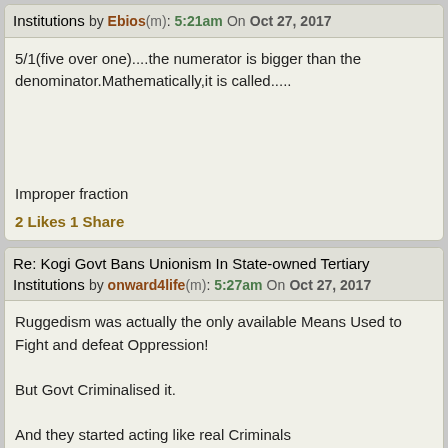Re: Kogi Govt Bans Unionism In State-owned Tertiary Institutions by Ebios(m): 5:21am On Oct 27, 2017
5/1(five over one)....the numerator is bigger than the denominator.Mathematically,it is called.....
Improper fraction
2 Likes 1 Share
Re: Kogi Govt Bans Unionism In State-owned Tertiary Institutions by onward4life(m): 5:27am On Oct 27, 2017
Ruggedism was actually the only available Means Used to Fight and defeat Oppression!

But Govt Criminalised it.

And they started acting like real Criminals

Just Asked Wole Soyinka.